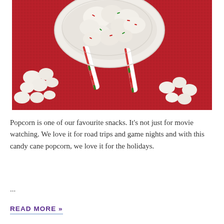[Figure (photo): Overhead photo of white chocolate candy cane popcorn in a white bowl on a red textured background, with candy canes and scattered popcorn visible. The popcorn is coated in white chocolate and decorated with red and green sprinkles.]
Popcorn is one of our favourite snacks. It's not just for movie watching. We love it for road trips and game nights and with this candy cane popcorn, we love it for the holidays.
...
READ MORE »